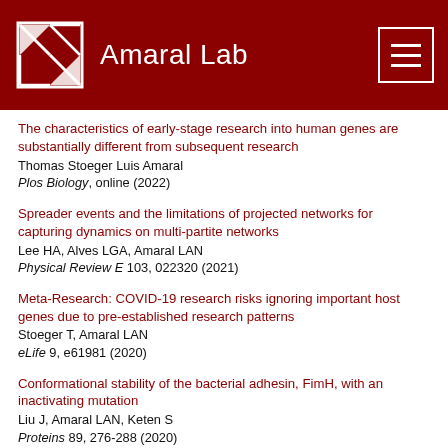Amaral Lab
The characteristics of early-stage research into human genes are substantially different from subsequent research
Thomas Stoeger Luis Amaral
Plos Biology, online (2022)
Spreader events and the limitations of projected networks for capturing dynamics on multi-partite networks
Lee HA, Alves LGA, Amaral LAN
Physical Review E 103, 022320 (2021)
Meta-Research: COVID-19 research risks ignoring important host genes due to pre-established research patterns
Stoeger T, Amaral LAN
eLife 9, e61981 (2020)
Conformational stability of the bacterial adhesin, FimH, with an inactivating mutation
Liu J, Amaral LAN, Keten S
Proteins 89, 276-288 (2020)